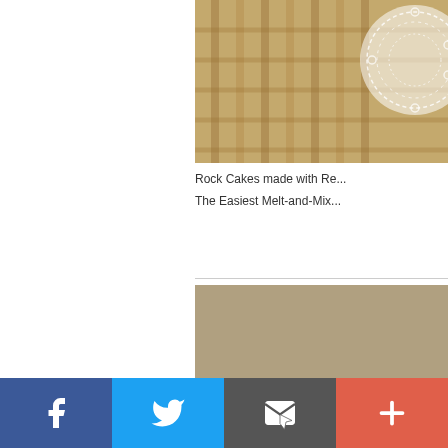[Figure (photo): Close-up of woven straw/rattan texture with white lace doily on top right]
Rock Cakes made with Re...
The Easiest Melt-and-Mix...
[Figure (photo): Rock cakes/cookies with chocolate chips cooling on a wire rack, with a 'Bake for Happy Kids' watermark overlay]
Facebook | Twitter | Email | More